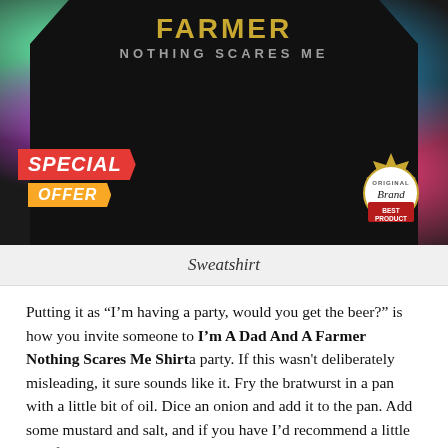[Figure (photo): A black sweatshirt with 'FARMER NOTHING SCARES ME' text in gold/grey on a colorful tie-dye background. A red 'SPECIAL OFFER' badge is in the lower left, and a gold 'Original Brand Best Product' seal badge is in the lower right.]
Sweatshirt
Putting it as “I’m having a party, would you get the beer?” is how you invite someone to I’m A Dad And A Farmer Nothing Scares Me Shirt a party. If this wasn’t deliberately misleading, it sure sounds like it. Fry the bratwurst in a pan with a little bit of oil. Dice an onion and add it to the pan. Add some mustard and salt, and if you have I’d recommend a little bit of ground nutmeg and marjoram (it